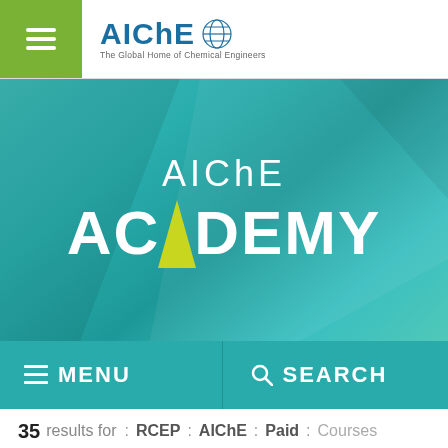[Figure (logo): AIChE logo with globe graphic and tagline 'The Global Home of Chemical Engineers']
[Figure (screenshot): AIChE Academy hero banner with teal gradient background showing 'AIChE ACADEMY' text where the A in ACADEMY is rendered as a yellow/green chevron]
≡ MENU    🔍 SEARCH
35 results for : RCEP : AIChE : Paid : Courses
Our websites use cookies to offer you a better browsing experience and analyze site traffic. By using our websites, you consent to our use of cookies.
Got it    More info